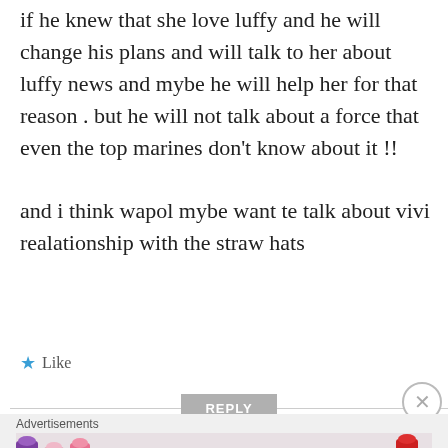if he knew that she love luffy and he will change his plans and will talk to her about luffy news and mybe he will help her for that reason . but he will not talk about a force that even the top marines don't know about it !!
and i think wapol mybe want te talk about vivi realationship with the straw hats
★ Like
REPLY
Advertisements
[Figure (photo): MAC cosmetics advertisement banner showing lipsticks in purple, pink, and red colors with MAC logo and SHOP NOW text]